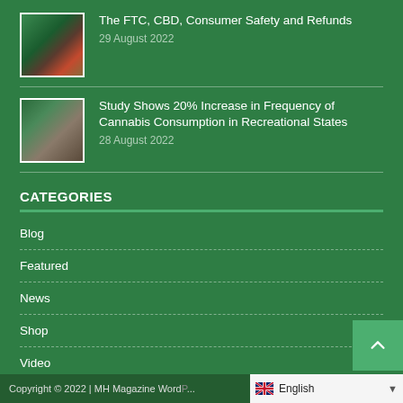The FTC, CBD, Consumer Safety and Refunds
29 August 2022
Study Shows 20% Increase in Frequency of Cannabis Consumption in Recreational States
28 August 2022
CATEGORIES
Blog
Featured
News
Shop
Video
Copyright © 2022 | MH Magazine Word...